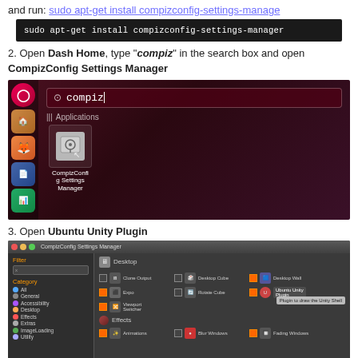and run: sudo apt-get install compizconfig-settings-manager
[Figure (screenshot): Terminal command block showing: sudo apt-get install compizconfig-settings-manager]
2. Open Dash Home, type "compiz" in the search box and open CompizConfig Settings Manager
[Figure (screenshot): Ubuntu Dash Home search interface showing 'compiz' typed in search box with CompizConfig Settings Manager application visible]
3. Open Ubuntu Unity Plugin
[Figure (screenshot): CompizConfig Settings Manager window showing Desktop section with Ubuntu Unity Plugin highlighted and tooltip 'Plugin to draw the Unity Shell']